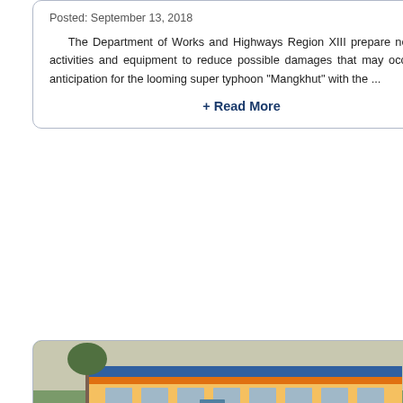Posted: September 13, 2018
The Department of Works and Highways Region XIII prepare needed activities and equipment to reduce possible damages that may occur, in anticipation for the looming super typhoon "Mangkhut" with the ...
+ Read More
[Figure (photo): Two composite photos: top shows exterior of an orange and blue government building with people outside; bottom shows interior of a large room with tables and people inspecting it.]
DPWH region 13 inspects DPWH-Equipment Management Division